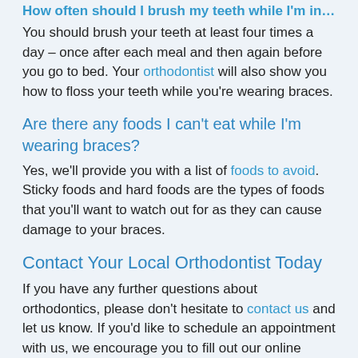How often should I brush my teeth while I'm in braces?
You should brush your teeth at least four times a day – once after each meal and then again before you go to bed. Your orthodontist will also show you how to floss your teeth while you're wearing braces.
Are there any foods I can't eat while I'm wearing braces?
Yes, we'll provide you with a list of foods to avoid. Sticky foods and hard foods are the types of foods that you'll want to watch out for as they can cause damage to your braces.
Contact Your Local Orthodontist Today
If you have any further questions about orthodontics, please don't hesitate to contact us and let us know. If you'd like to schedule an appointment with us, we encourage you to fill out our online appointment request form. We're looking forward to hearing from you!